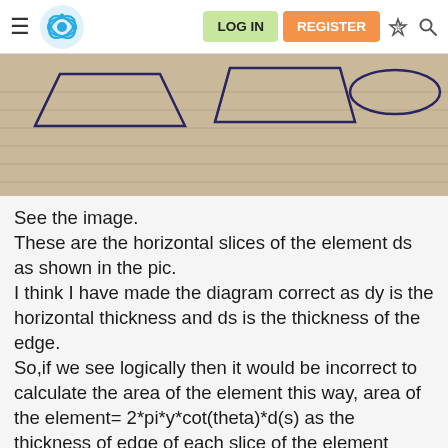LOG IN | REGISTER
[Figure (photo): Photograph of hand-drawn horizontal slices of a geometric element on lined paper, showing three trapezoid/oval shapes in a row]
See the image.
These are the horizontal slices of the element ds as shown in the pic.
I think I have made the diagram correct as dy is the horizontal thickness and ds is the thickness of the edge.
So,if we see logically then it would be incorrect to calculate the area of the element this way, area of the element= 2*pi*y*cot(theta)*d(s) as the thickness of edge of each slice of the element marked on the hemisphere is different.